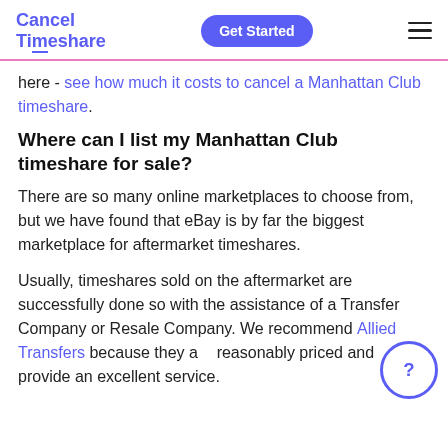Cancel Timeshare | Get Started
here - see how much it costs to cancel a Manhattan Club timeshare.
Where can I list my Manhattan Club timeshare for sale?
There are so many online marketplaces to choose from, but we have found that eBay is by far the biggest marketplace for aftermarket timeshares.
Usually, timeshares sold on the aftermarket are successfully done so with the assistance of a Transfer Company or Resale Company. We recommend Allied Transfers because they are reasonably priced and provide an excellent service.